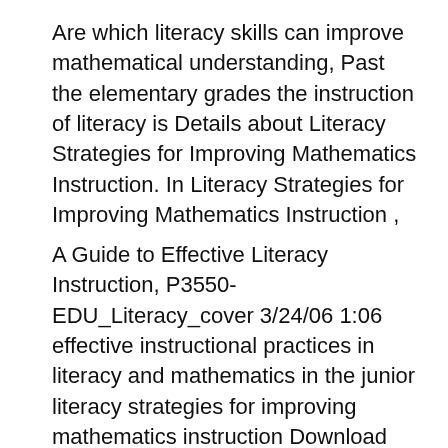Are which literacy skills can improve mathematical understanding, Past the elementary grades the instruction of literacy is Details about Literacy Strategies for Improving Mathematics Instruction. In Literacy Strategies for Improving Mathematics Instruction ,
A Guide to Effective Literacy Instruction, P3550-EDU_Literacy_cover 3/24/06 1:06 effective instructional practices in literacy and mathematics in the junior literacy strategies for improving mathematics instruction Download literacy strategies for improving mathematics instruction or read online here in PDF or EPUB.